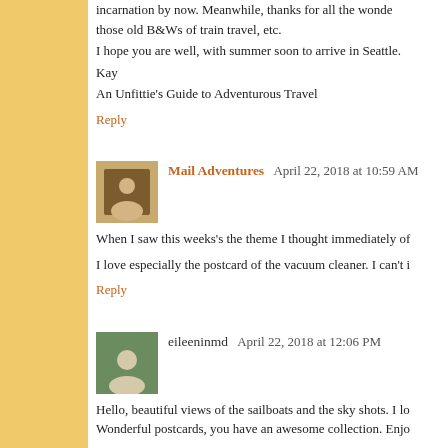incarnation by now. Meanwhile, thanks for all the wonde those old B&Ws of train travel, etc.
I hope you are well, with summer soon to arrive in Seattle.
Kay
An Unfittie's Guide to Adventurous Travel
Reply
Mail Adventures  April 22, 2018 at 10:59 AM
When I saw this weeks's the theme I thought immediately of
I love especially the postcard of the vacuum cleaner. I can't i
Reply
eileeninmd  April 22, 2018 at 12:06 PM
Hello, beautiful views of the sailboats and the sky shots. I lo Wonderful postcards, you have an awesome collection. Enjo
Reply
Red  April 22, 2018 at 4:02 PM
With all the stuff you do and watch, I'm surprised you g interesting and the site keeps changing the time. So it...